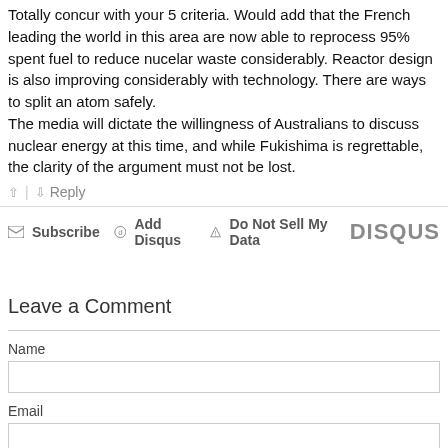Totally concur with your 5 criteria. Would add that the French leading the world in this area are now able to reprocess 95% spent fuel to reduce nucelar waste considerably. Reactor design is also improving considerably with technology. There are ways to split an atom safely. The media will dictate the willingness of Australians to discuss nuclear energy at this time, and while Fukishima is regrettable, the clarity of the argument must not be lost.
↑ | ↓ Reply
✉ Subscribe  ⓓ Add Disqus  ▲ Do Not Sell My Data   DISQUS
Leave a Comment
Name
Email
Website